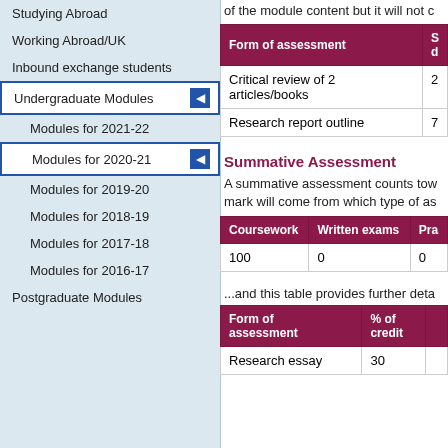Studying Abroad
Working Abroad/UK
Inbound exchange students
Undergraduate Modules
Modules for 2021-22
Modules for 2020-21
Modules for 2019-20
Modules for 2018-19
Modules for 2017-18
Modules for 2016-17
Postgraduate Modules
of the module content but it will not c
| Form of assessment | S d |
| --- | --- |
| Critical review of 2 articles/books | 2 |
| Research report outline | 7 |
Summative Assessment
A summative assessment counts tow mark will come from which type of as
| Coursework | Written exams | Pra |
| --- | --- | --- |
| 100 | 0 | 0 |
...and this table provides further deta
| Form of assessment | % of credit |  |
| --- | --- | --- |
| Research essay | 30 |  |